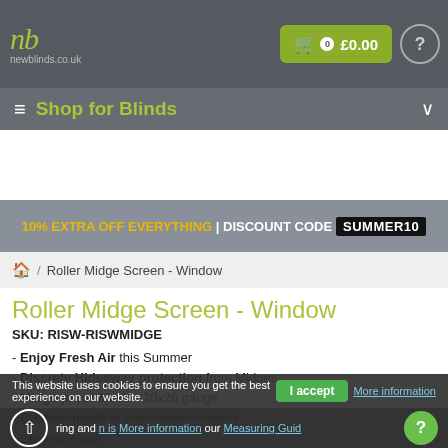nb newblinds.co.uk | £0.00
≡ Shop for Blinds
10% EXTRA OFF EVERYTHING | DISCOUNT CODE SUMMER10
🏠 / Roller Midge Screen - Window
Roller Midge Screen - Window
SKU: RISW-RISWMIDGE
- Enjoy Fresh Air this Summer
- Discrete Hideaway protection from Midges
- Midge proof Mesh - 20x20 gauge
- Custom made to your measurements
- Easy to Install
- Measuring and installation is More information our Measuring Guide
This website uses cookies to ensure you get the best experience on our website. I accept More information our Measuring Guide